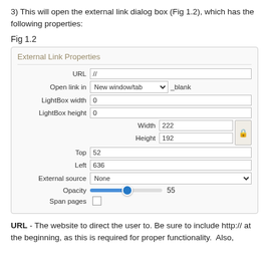3) This will open the external link dialog box (Fig 1.2), which has the following properties:
Fig 1.2
[Figure (screenshot): Screenshot of the External Link Properties dialog box showing fields: URL (//) , Open link in (New window/tab, _blank), LightBox width (0), LightBox height (0), Width (222), Height (192) with lock button, Top (52), Left (636), External source (None dropdown), Opacity (slider at 55), Span pages (checkbox).]
URL - The website to direct the user to. Be sure to include http:// at the beginning, as this is required for proper functionality.  Also,